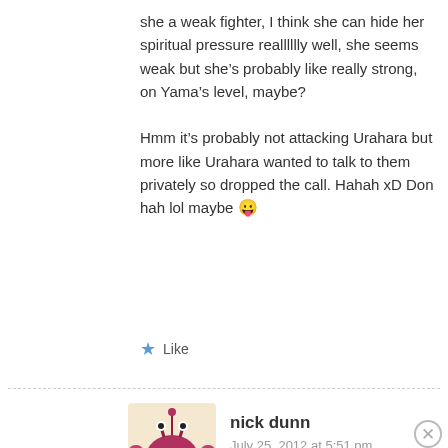she a weak fighter, I think she can hide her spiritual pressure realllllly well, she seems weak but she's probably like really strong, on Yama's level, maybe?

Hmm it's probably not attacking Urahara but more like Urahara wanted to talk to them privately so dropped the call. Hahah xD Don hah lol maybe 😛
★ Like
nick dunn
July 25, 2012 at 5:51 pm
Advertisements
[Figure (logo): Jetpack advertisement banner with green background, Jetpack logo on left and 'Back up your site' button on right]